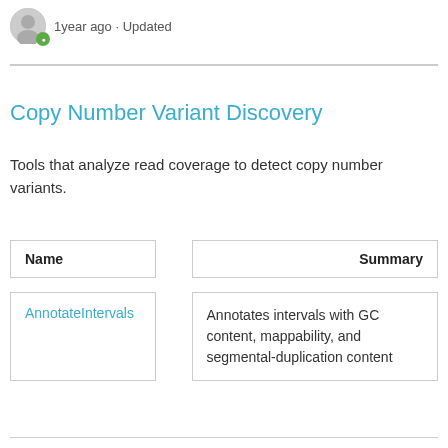1year ago · Updated
Copy Number Variant Discovery
Tools that analyze read coverage to detect copy number variants.
| Name |  | Summary |
| --- | --- | --- |
| AnnotateIntervals |  | Annotates intervals with GC content, mappability, and segmental-duplication content |